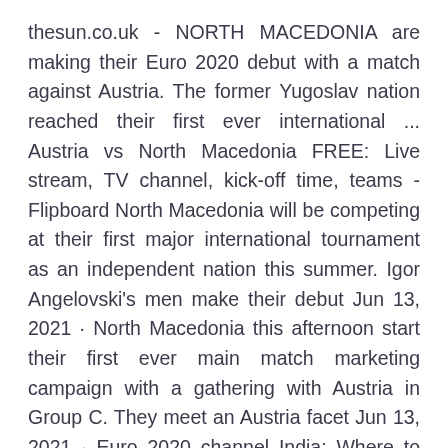thesun.co.uk - NORTH MACEDONIA are making their Euro 2020 debut with a match against Austria. The former Yugoslav nation reached their first ever international ... Austria vs North Macedonia FREE: Live stream, TV channel, kick-off time, teams - Flipboard North Macedonia will be competing at their first major international tournament as an independent nation this summer. Igor Angelovski's men make their debut Jun 13, 2021 · North Macedonia this afternoon start their first ever main match marketing campaign with a gathering with Austria in Group C. They meet an Austria facet Jun 13, 2021 · Euro 2020 channel India: Where to watch Euro 2020 AUSTRIA vs NORTH MACEDONIA LIVE in India? The Sony Sports Network are the official broadcasters of the UEFA Euro 2020 in India.